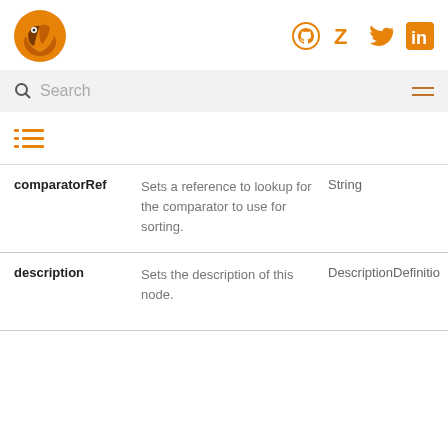Comparator logo and social icons (GitHub, Zulip, Twitter, LinkedIn)
Search
[Figure (other): Table of contents icon (list icon)]
| Property | Description | Type |
| --- | --- | --- |
| comparatorRef | Sets a reference to lookup for the comparator to use for sorting. | String |
| description | Sets the description of this node. | DescriptionDefinitio |